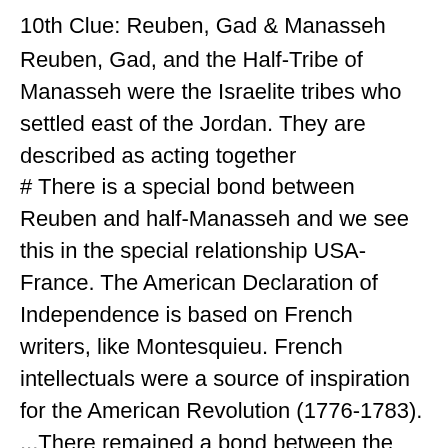10th Clue: Reuben, Gad & Manasseh
Reuben, Gad, and the Half-Tribe of Manasseh were the Israelite tribes who settled east of the Jordan. They are described as acting together
# There is a special bond between Reuben and half-Manasseh and we see this in the special relationship USA-France. The American Declaration of Independence is based on French writers, like Montesquieu. French intellectuals were a source of inspiration for the American Revolution (1776-1783). ...There remained a bond between the two countries. In 1803 Napoleon sold the last French